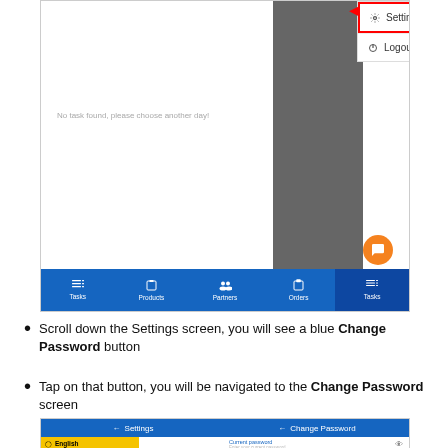[Figure (screenshot): Mobile app screenshot showing a dropdown menu with Settings (highlighted with red border and red arrow) and Logout options, over a dark sidebar overlay. Bottom navigation bar with Tasks, Products, Partners, Orders, Tasks icons. 'No task found, please choose another day!' text visible. Orange chat button in bottom-right. Version text at bottom-right.]
Scroll down the Settings screen, you will see a blue Change Password button
Tap on that button, you will be navigated to the Change Password screen
[Figure (screenshot): Two mobile app screens side by side: left shows Settings screen with back arrow and 'Settings' title in blue header, English language option shown in yellow; right shows Change Password screen with back arrow and 'Change Password' title, Current password label and input field visible.]